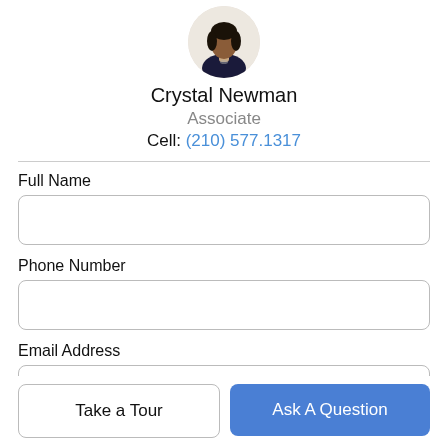[Figure (photo): Circular profile photo of Crystal Newman, a woman in a dark top, against a light background]
Crystal Newman
Associate
Cell: (210) 577.1317
Full Name
Phone Number
Email Address
Take a Tour
Ask A Question